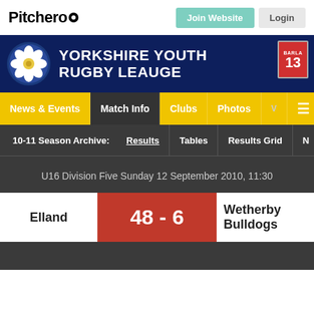[Figure (logo): Pitchero logo with circular icon]
Join Website
Login
[Figure (logo): Yorkshire Youth Rugby League banner with white rose emblem and BARLA 13 badge]
YORKSHIRE YOUTH RUGBY LEAUGE
News & Events  Match Info  Clubs  Photos
10-11 Season Archive:  Results  Tables  Results Grid
U16 Division Five Sunday 12 September 2010, 11:30
| Home | Score | Away |
| --- | --- | --- |
| Elland | 48 - 6 | Wetherby Bulldogs |